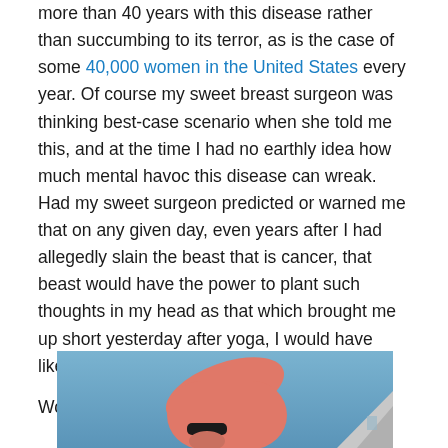more than 40 years with this disease rather than succumbing to its terror, as is the case of some 40,000 women in the United States every year. Of course my sweet breast surgeon was thinking best-case scenario when she told me this, and at the time I had no earthly idea how much mental havoc this disease can wreak. Had my sweet surgeon predicted or warned me that on any given day, even years after I had allegedly slain the beast that is cancer, that beast would have the power to plant such thoughts in my head as that which brought me up short yesterday after yoga, I would have likely run screaming from the room.
Would I even be alive to do yoga in 30 years?
[Figure (photo): Partial photo showing a person in a pink long-sleeve shirt with a black wristband, photographed against a blue sky with a building edge visible in the lower right corner.]